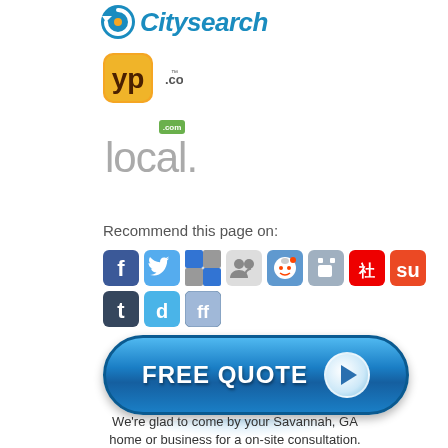[Figure (logo): Citysearch logo with blue circular arrow icon and italic blue text]
[Figure (logo): YP.com yellow pages logo with 'yp' in yellow square and '.com' text]
[Figure (logo): local.com logo in gray with small green .com badge]
Recommend this page on:
[Figure (infographic): Row of social media sharing icons: Facebook, Twitter, Delicious, Google Friends, Reddit, Digg alternative, Chinese social, StumbleUpon, Tumblr, Diigo, and FriendFeed]
[Figure (infographic): FREE QUOTE button with play arrow, blue gradient rounded rectangle with reflection]
We're glad to come by your Savannah, GA home or business for a on-site consultation.